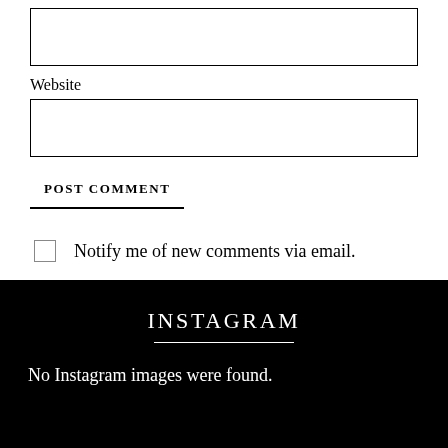Website
POST COMMENT
Notify me of new comments via email.
Notify me of new posts via email.
INSTAGRAM
No Instagram images were found.